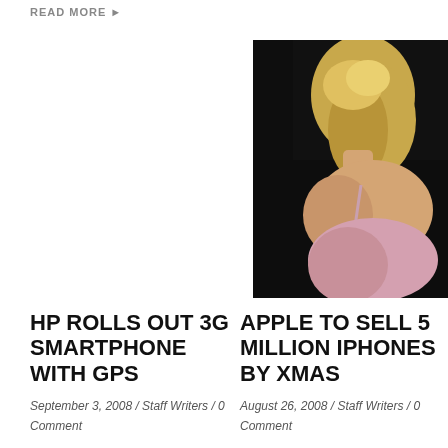READ MORE ▸
[Figure (photo): Blonde woman in a spaghetti-strap dress photographed from the back, dark background]
HP ROLLS OUT 3G SMARTPHONE WITH GPS
September 3, 2008 / Staff Writers / 0 Comment
APPLE TO SELL 5 MILLION IPHONES BY XMAS
August 26, 2008 / Staff Writers / 0 Comment